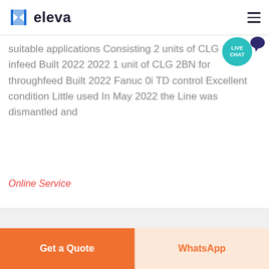eleva
suitable applications Consisting 2 units of CLG 1V for infeed Built 2022 2022 1 unit of CLG 2BN for throughfeed Built 2022 Fanuc 0i TD control Excellent condition Little used In May 2022 the Line was dismantled and
Online Service
Get a Quote
WhatsApp